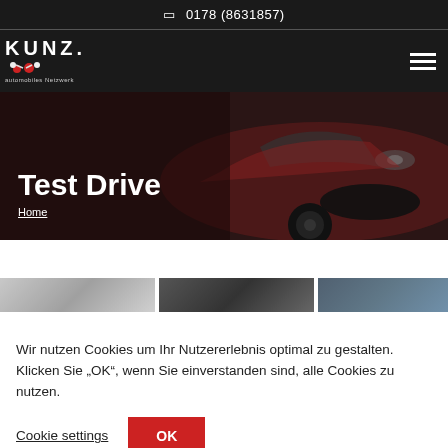0178 (8631857)
[Figure (logo): KUNZ automobiles Netzwerk logo with gear figures]
Test Drive
Home
[Figure (photo): Three-panel image strip showing car details]
Wir nutzen Cookies um Ihr Nutzererlebnis optimal zu gestalten. Klicken Sie „OK“, wenn Sie einverstanden sind, alle Cookies zu nutzen.
Cookie settings   OK